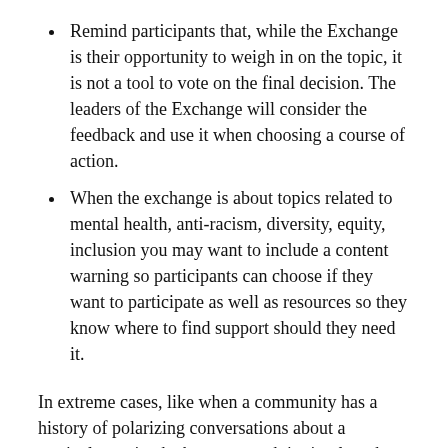Remind participants that, while the Exchange is their opportunity to weigh in on the topic, it is not a tool to vote on the final decision. The leaders of the Exchange will consider the feedback and use it when choosing a course of action.
When the exchange is about topics related to mental health, anti-racism, diversity, equity, inclusion you may want to include a content warning so participants can choose if they want to participate as well as resources so they know where to find support should they need it.
In extreme cases, like when a community has a history of polarizing conversations about a particular topic, the best approach is simply to be prepared. Staying on top of the new thoughts that come in while the Exchange is live ensures that inappropriate thoughts are removed in a timely manner and that appropriate ideas are reviewed quickly so they have an opportunity to be rated.